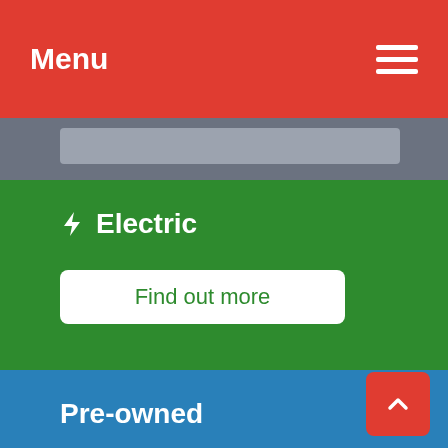Menu
[Figure (screenshot): Gray strip with a lighter gray rounded rectangle button partially visible at top of content area]
⚡ Electric
Find out more
Pre-owned
Find out more